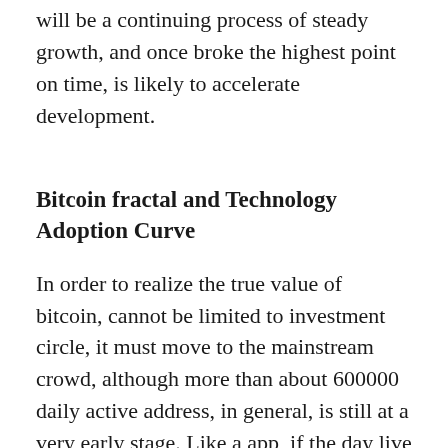will be a continuing process of steady growth, and once broke the highest point on time, is likely to accelerate development.
Bitcoin fractal and Technology Adoption Curve
In order to realize the true value of bitcoin, cannot be limited to investment circle, it must move to the mainstream crowd, although more than about 600000 daily active address, in general, is still at a very early stage. Like a app, if the day live about 600000, which is far from the mainstream of the situation.
Purchasing behavior for technology adoption